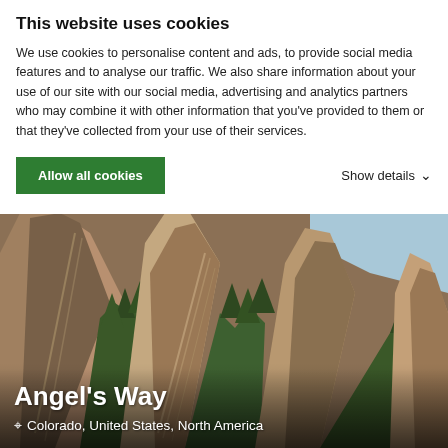This website uses cookies
We use cookies to personalise content and ads, to provide social media features and to analyse our traffic. We also share information about your use of our site with our social media, advertising and analytics partners who may combine it with other information that you've provided to them or that they've collected from your use of their services.
Allow all cookies
Show details
[Figure (photo): Aerial or close-up view of the Flatirons rock formations in Colorado — large tilted reddish-brown rock slabs rising steeply with evergreen pine trees filling the gaps between the formations, blue sky visible at upper right.]
Angel's Way
Colorado, United States, North America